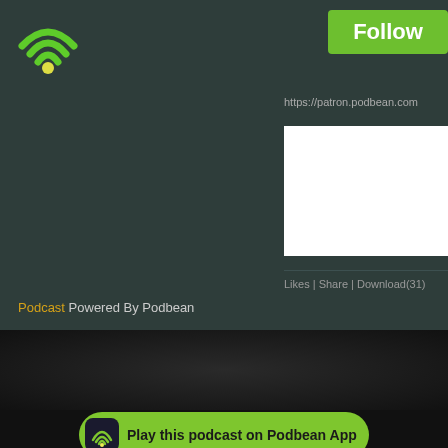[Figure (logo): Podbean WiFi/podcast icon (green WiFi signal arcs with green dot) in top-left corner]
Follow
https://patron.podbean.com
[Figure (screenshot): White content box embedded in right panel area]
Likes | Share | Download(31)
Podcast Powered By Podbean
[Figure (logo): Podbean app icon (dark square with WiFi icon) inside green rounded play bar]
Play this podcast on Podbean App